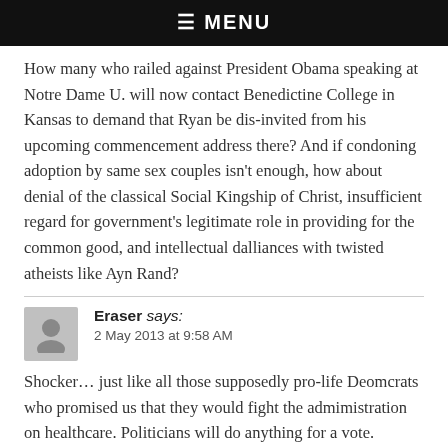☰ MENU
How many who railed against President Obama speaking at Notre Dame U. will now contact Benedictine College in Kansas to demand that Ryan be dis-invited from his upcoming commencement address there? And if condoning adoption by same sex couples isn't enough, how about denial of the classical Social Kingship of Christ, insufficient regard for government's legitimate role in providing for the common good, and intellectual dalliances with twisted atheists like Ayn Rand?
Eraser says:
2 May 2013 at 9:58 AM
Shocker… just like all those supposedly pro-life Deomcrats who promised us that they would fight the admimistration on healthcare. Politicians will do anything for a vote.